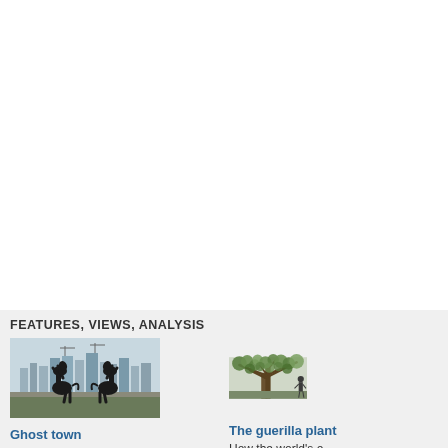FEATURES, VIEWS, ANALYSIS
[Figure (photo): Black silhouette sculpture of two rearing horses against a skyline with tall buildings under construction, city skyline in background]
Ghost town
Has China's housing bubble burst?
[Figure (photo): Large old tree with sprawling branches and green leaves, partial view of a person or structure nearby]
The guerilla plant
How the world's o clove tree defied a